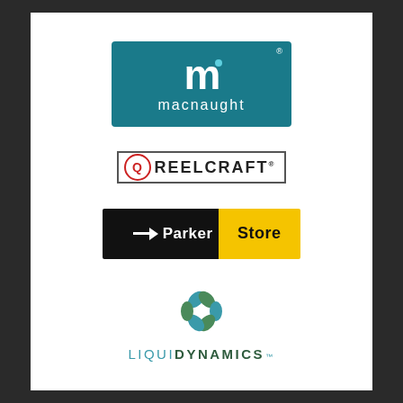[Figure (logo): Macnaught logo: teal/blue-green rectangle with stylized white 'm' and 'macnaught' text below]
[Figure (logo): Reelcraft logo: bordered rectangle with red Q circle mark and REELCRAFT text in bold black]
[Figure (logo): Parker Store logo: black left panel with arrow and 'Parker' text, yellow right panel with 'Store' text]
[Figure (logo): LiquiDynamics logo: circular pinwheel icon in teal and green above LIQUIDYNAMICS text with trademark symbol]